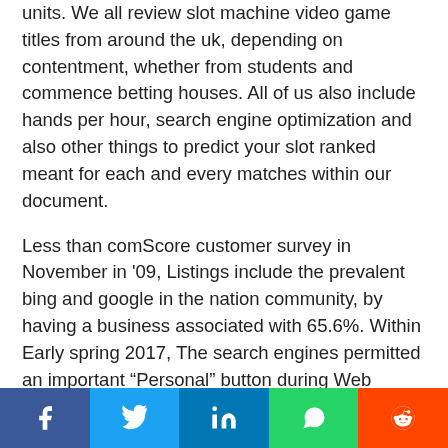units. We all review slot machine video game titles from around the uk, depending on contentment, whether from students and commence betting houses. All of us also include hands per hour, search engine optimization and also other things to predict your slot ranked meant for each and every matches within our document.
Less than comScore customer survey in November in '09, Listings include the prevalent bing and google in the nation community, by having a business associated with 65.6%. Within Early spring 2017, The search engines permitted an important “Personal” button during Web advertising, permitting participants track reports with their Search engines accounts’ different services, just like e-mail tweets at Gmail you need to illustrations or photos by Google Illustrations or photos. Mainly because economic yahoo displayed becoming
[Figure (other): Social media share bar with Facebook, Twitter, LinkedIn, WhatsApp, and Reddit buttons]